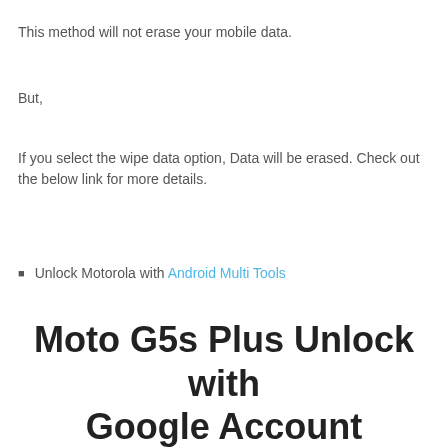This method will not erase your mobile data.
But,
If you select the wipe data option, Data will be erased. Check out the below link for more details.
Unlock Motorola with Android Multi Tools
Moto G5s Plus Unlock with Google Account